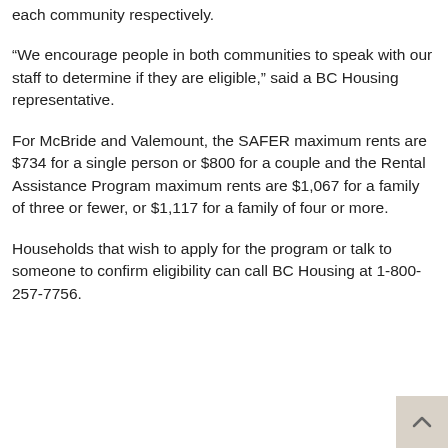each community respectively.
“We encourage people in both communities to speak with our staff to determine if they are eligible,” said a BC Housing representative.
For McBride and Valemount, the SAFER maximum rents are $734 for a single person or $800 for a couple and the Rental Assistance Program maximum rents are $1,067 for a family of three or fewer, or $1,117 for a family of four or more.
Households that wish to apply for the program or talk to someone to confirm eligibility can call BC Housing at 1-800-257-7756.